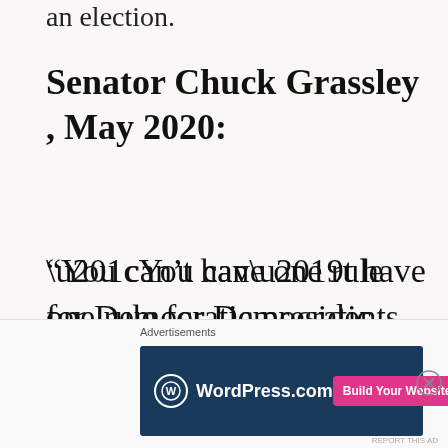an election.
Senator Chuck Grassley , May 2020:
“You can’t have one rule for Democratic presidents and another rule for Republican presidents.”
[Figure (screenshot): WordPress.com advertisement banner with 'Build Your Website' button]
Advertisements